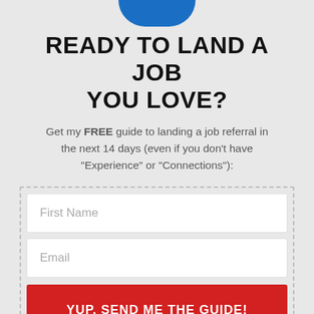[Figure (illustration): Blue circle/badge partially visible at the top of the page, cropped at the top edge]
READY TO LAND A JOB YOU LOVE?
Get my FREE guide to landing a job referral in the next 14 days (even if you don't have "Experience" or "Connections"):
First Name
Email
YUP, SEND ME THE GUIDE!
We will never spam or sell your data! You can unsubscribe at any time.